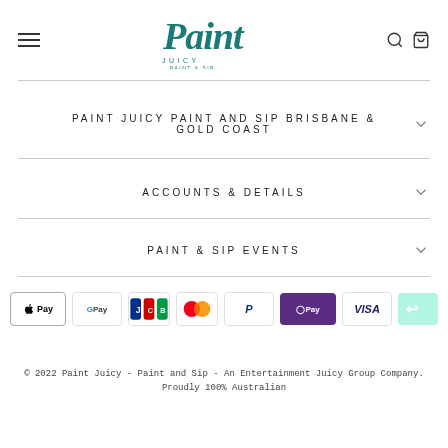[Figure (logo): Paint Juicy Paint & Sip logo in teal script with tagline]
PAINT JUICY PAINT AND SIP BRISBANE & GOLD COAST
ACCOUNTS & DETAILS
PAINT & SIP EVENTS
[Figure (other): Payment method icons: Apple Pay, Google Pay, JCB, Mastercard, PayPal, OPay, Visa, Afterpay]
© 2022 Paint Juicy - Paint and Sip - An Entertainment Juicy Group Company. Proudly 100% Australian